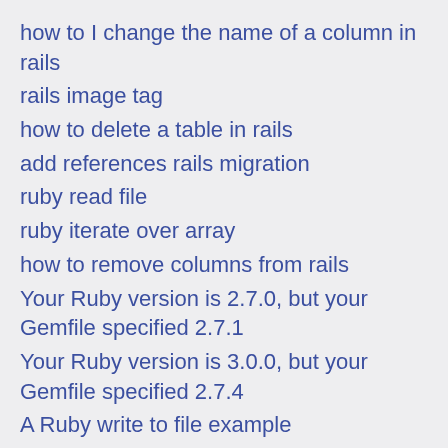how to I change the name of a column in rails
rails image tag
how to delete a table in rails
add references rails migration
ruby read file
ruby iterate over array
how to remove columns from rails
Your Ruby version is 2.7.0, but your Gemfile specified 2.7.1
Your Ruby version is 3.0.0, but your Gemfile specified 2.7.4
A Ruby write to file example
redis localhost url
rails remove column from model